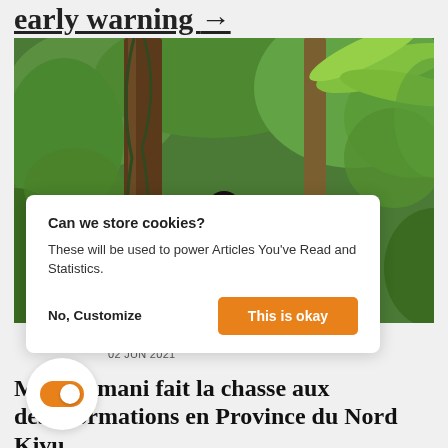early warning →
[Figure (photo): Three people standing in a tropical forest with lush green vegetation, large trees, and banana plants. Viewed from behind.]
Can we store cookies?

These will be used to power Articles You've Read and Statistics.

No, Customize    This is okay
A... [partially obscured]
02 JUN 2021
Mha Amani fait la chasse aux désinformations en Province du Nord Kivu